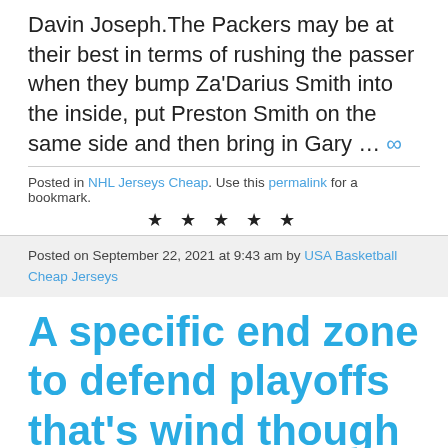Davin Joseph.The Packers may be at their best in terms of rushing the passer when they bump Za'Darius Smith into the inside, put Preston Smith on the same side and then bring in Gary … ∞
Posted in NHL Jerseys Cheap. Use this permalink for a bookmark.
★ ★ ★ ★ ★
Posted on September 22, 2021 at 9:43 am by USA Basketball Cheap Jerseys
A specific end zone to defend playoffs that's wind though